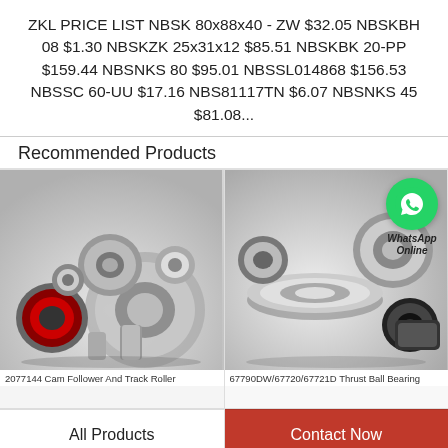ZKL PRICE LIST NBSK 80x88x40 - ZW $32.05 NBSKBH 08 $1.30 NBSKZK 25x31x12 $85.51 NBSKBK 20-PP $159.44 NBSNKS 80 $95.01 NBSSL014868 $156.53 NBSSC 60-UU $17.16 NBS81117TN $6.07 NBSNKS 45 $81.08...
Recommended Products
[Figure (photo): Collection of various industrial bearings including deep groove ball bearings, needle bearings, and other types arranged together. Caption: 2077144 Cam Follower And Track Roller]
2077144 Cam Follower And Track Roller
[Figure (photo): Collection of industrial thrust ball bearings and other bearing types with a WhatsApp Online contact badge in the top right corner. Caption: 67790DW/67720/67721D Thrust Ball Bearing]
67790DW/67720/67721D Thrust Ball Bearing
All Products
Contact Now